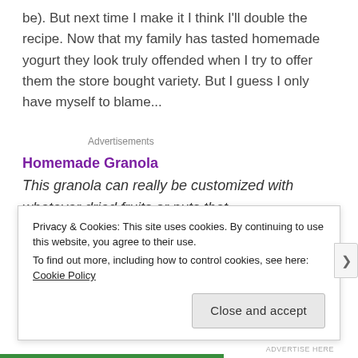be). But next time I make it I think I'll double the recipe. Now that my family has tasted homemade yogurt they look truly offended when I try to offer them the store bought variety. But I guess I only have myself to blame...
Advertisements
Homemade Granola
This granola can really be customized with whatever dried fruits or nuts that appeal to you the most.
Privacy & Cookies: This site uses cookies. By continuing to use this website, you agree to their use. To find out more, including how to control cookies, see here: Cookie Policy
Close and accept